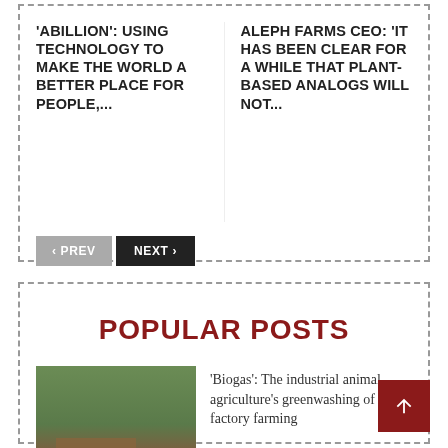'ABILLION': USING TECHNOLOGY TO MAKE THE WORLD A BETTER PLACE FOR PEOPLE,...
ALEPH FARMS CEO: 'IT HAS BEEN CLEAR FOR A WHILE THAT PLANT-BASED ANALOGS WILL NOT...
POPULAR POSTS
'Biogas': The industrial animal agriculture's greenwashing of factory farming